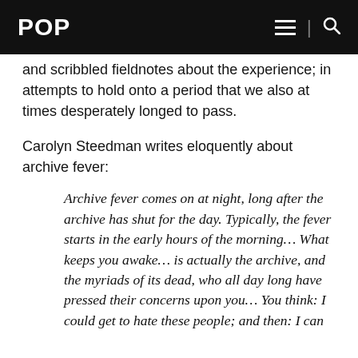POP
and scribbled fieldnotes about the experience; in attempts to hold onto a period that we also at times desperately longed to pass.
Carolyn Steedman writes eloquently about archive fever:
Archive fever comes on at night, long after the archive has shut for the day. Typically, the fever starts in the early hours of the morning… What keeps you awake… is actually the archive, and the myriads of its dead, who all day long have pressed their concerns upon you… You think: I could get to hate these people; and then: I can